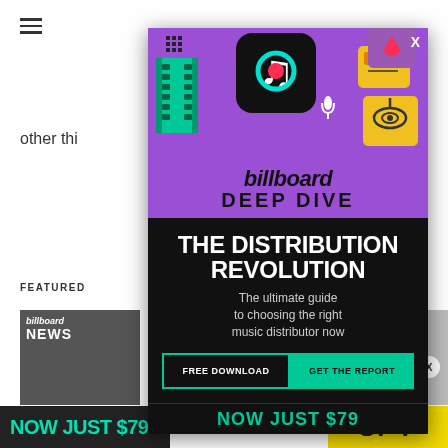[Figure (screenshot): Billboard Deep Dive advertisement modal overlay on a webpage. Purple top section with TikTok/social media icons illustration, Billboard logo, DEEP DIVE text, black bottom section with 'THE DISTRIBUTION REVOLUTION' headline, subtitle text, FREE DOWNLOAD and GET THE REPORT buttons. Background shows hamburger menu, 'other thi' text, FEATURED label, Billboard NEWS thumbnail, and NOW JUST $79 / SPY banners.]